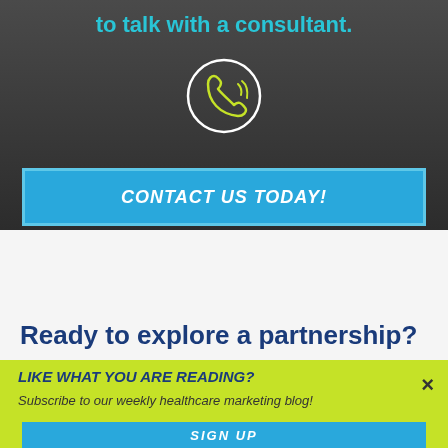to talk with a consultant.
[Figure (illustration): Phone handset icon inside a circle outline, drawn in yellow-green color on dark background]
CONTACT US TODAY!
Ready to explore a partnership?
LIKE WHAT YOU ARE READING?
Subscribe to our weekly healthcare marketing blog!
SIGN UP